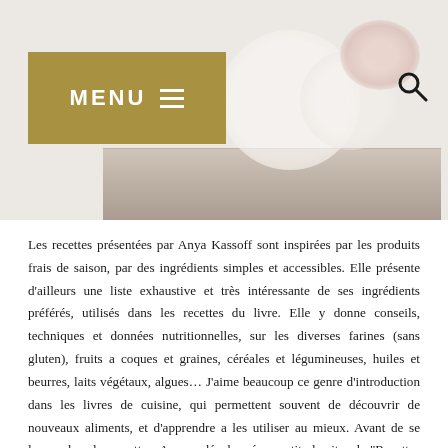[Figure (photo): Screenshot of a food blog website header. A golden/olive colored MENU button with hamburger icon is on the left. A search icon (magnifying glass) is on the right. A photograph of plates/dishes with decorative flowers is visible in the background header area.]
Les recettes présentées par Anya Kassoff sont inspirées par les produits frais de saison, par des ingrédients simples et accessibles. Elle présente d'ailleurs une liste exhaustive et très intéressante de ses ingrédients préférés, utilisés dans les recettes du livre. Elle y donne conseils, techniques et données nutritionnelles, sur les diverses farines (sans gluten), fruits a coques et graines, céréales et légumineuses, huiles et beurres, laits végétaux, algues… J'aime beaucoup ce genre d'introduction dans les livres de cuisine, qui permettent souvent de découvrir de nouveaux aliments, et d'apprendre a les utiliser au mieux. Avant de se lancer dans les recettes, Anya a développé un petit chapitre de "Recettes et techniques de base". On y apprend comment réaliser une ricotta maison, du beurre clarifié (ghee), lait d'amande, ou encore du chocolat cru. Grande fan du tout fait maison, j'aime